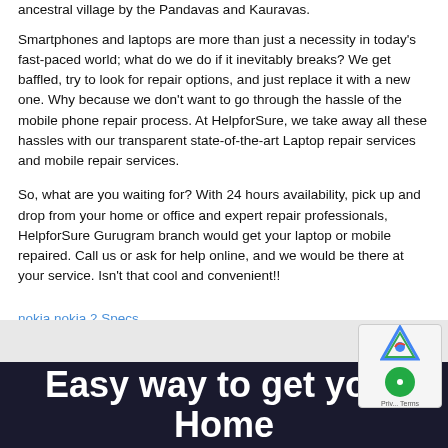ancestral village by the Pandavas and Kauravas.
Smartphones and laptops are more than just a necessity in today's fast-paced world; what do we do if it inevitably breaks? We get baffled, try to look for repair options, and just replace it with a new one. Why because we don't want to go through the hassle of the mobile phone repair process. At HelpforSure, we take away all these hassles with our transparent state-of-the-art Laptop repair services and mobile repair services.
So, what are you waiting for? With 24 hours availability, pick up and drop from your home or office and expert repair professionals, HelpforSure Gurugram branch would get your laptop or mobile repaired. Call us or ask for help online, and we would be there at your service. Isn't that cool and convenient!!
nokia nokia 2 Specs
Easy way to get your Home